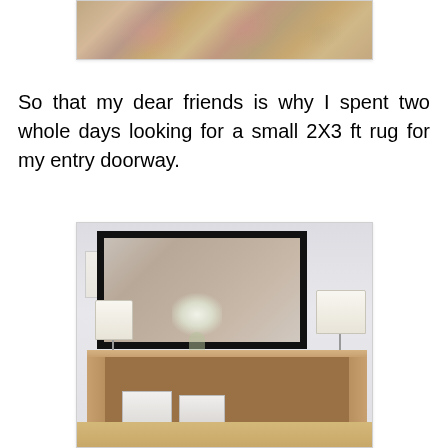[Figure (photo): Partial top portion of a floral rug with pink and green tones, cropped at the top of the page]
So that my dear friends is why I spent two whole days looking for a small 2X3 ft rug for my entry doorway.
[Figure (photo): Interior photo of an entryway with a modern console table, two table lamps, a large black-framed mirror on the wall, a floral arrangement, and two white stools tucked under the table]